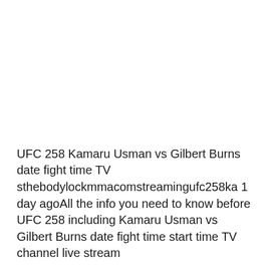UFC 258 Kamaru Usman vs Gilbert Burns date fight time TV sthebodylockmmacomstreamingufc258ka 1 day agoAll the info you need to know before UFC 258 including Kamaru Usman vs Gilbert Burns date fight time start time TV channel live stream